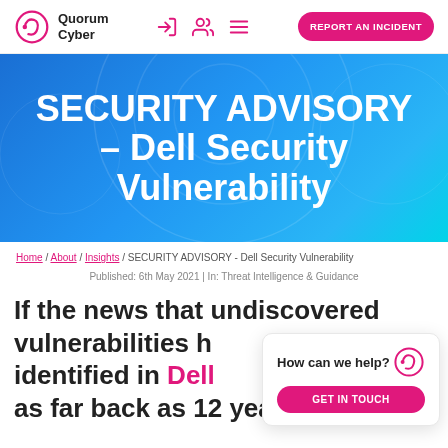Quorum Cyber — navigation bar with logo, icons, and REPORT AN INCIDENT button
[Figure (screenshot): Hero banner with blue gradient background and large white bold text reading: SECURITY ADVISORY – Dell Security Vulnerability]
SECURITY ADVISORY – Dell Security Vulnerability
Home / About / Insights / SECURITY ADVISORY - Dell Security Vulnerability
Published: 6th May 2021 | In: Threat Intelligence & Guidance
If the news that undiscovered vulnerabilities have been identified in Dell as far back as 12 years ago
How can we help? GET IN TOUCH